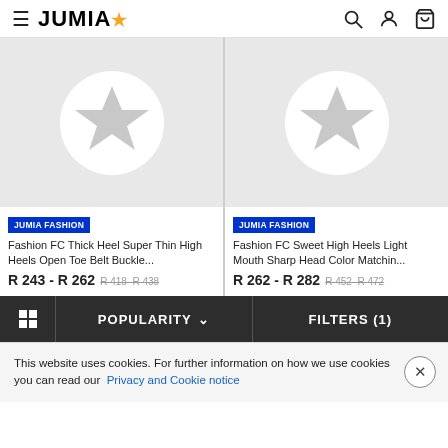JUMIA
[Figure (screenshot): Two product cards showing fashion high heel shoes with placeholder star icons on grey backgrounds. Each card has a JUMIA FASHION badge, product name, and price range.]
JUMIA FASHION
Fashion FC Thick Heel Super Thin High Heels Open Toe Belt Buckle...
R 243 - R 262 R 418 R 438
JUMIA FASHION
Fashion FC Sweet High Heels Light Mouth Sharp Head Color Matchin...
R 262 - R 282 R 452 R 472
POPULARITY
FILTERS (1)
This website uses cookies. For further information on how we use cookies you can read our Privacy and Cookie notice